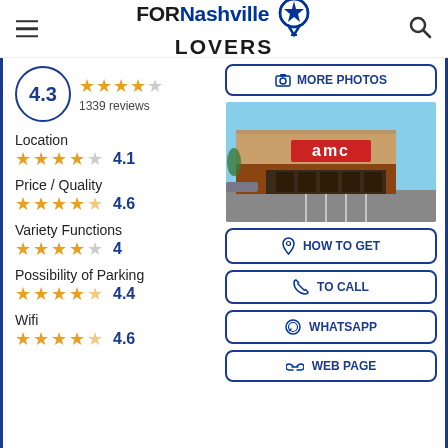FORNashville LOVERS
4.3 — 1339 reviews
Location 4.1
Price / Quality 4.6
Variety Functions 4
Possibility of Parking 4.4
Wifi 4.6
[Figure (photo): AMC movie theater exterior with brick facade, parking lot, blue sky]
MORE PHOTOS
HOW TO GET
TO CALL
WHATSAPP
WEB PAGE